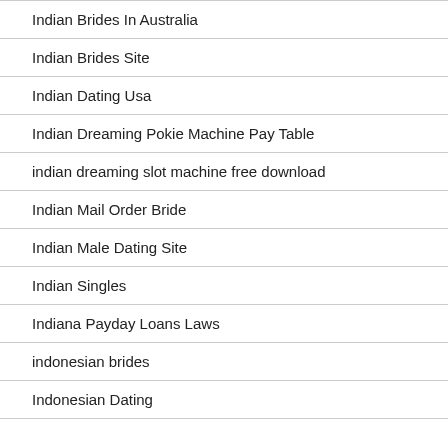Indian Brides In Australia
Indian Brides Site
Indian Dating Usa
Indian Dreaming Pokie Machine Pay Table
indian dreaming slot machine free download
Indian Mail Order Bride
Indian Male Dating Site
Indian Singles
Indiana Payday Loans Laws
indonesian brides
Indonesian Dating